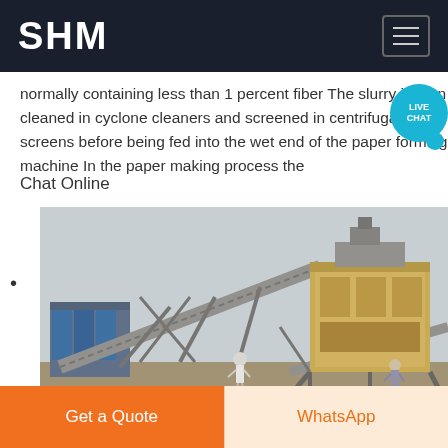SHM
normally containing less than 1 percent fiber The slurry is then cleaned in cyclone cleaners and screened in centrifugal screens before being fed into the wet end of the paper forming machine In the paper making process the
Chat Online
•
[Figure (photo): Industrial crushing/conveying plant with conveyor belts, heavy machinery (jaw crusher or similar), and workers standing nearby on a dusty outdoor site.]
Get a Quote
WhatsApp